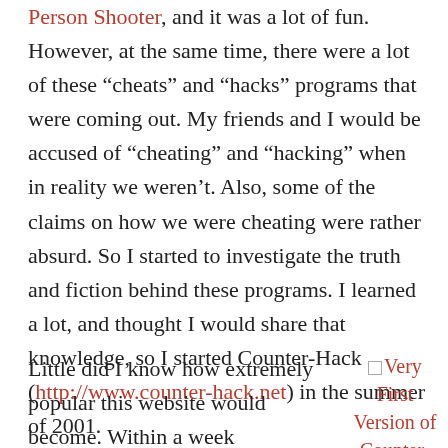Person Shooter, and it was a lot of fun. However, at the same time, there were a lot of these “cheats” and “hacks” programs that were coming out. My friends and I would be accused of “cheating” and “hacking” when in reality we weren’t. Also, some of the claims on how we were cheating were rather absurd. So I started to investigate the truth and fiction behind these programs. I learned a lot, and thought I would share that knowledge, so I started Counter-Hack (http://www.counter-hack.net) in the summer of 2001.
Little did I know how extremely popular this website would become. Within a week
[Figure (other): Very First Version of Counter-Hack image placeholder with caption text]